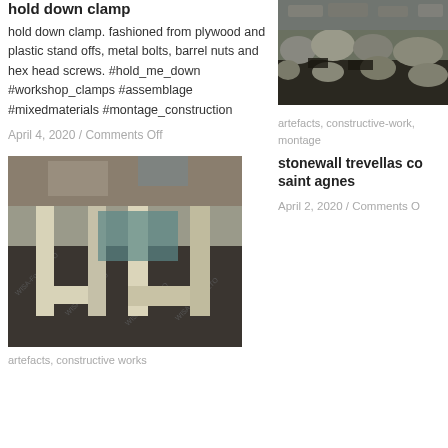hold down clamp
hold down clamp. fashioned from plywood and plastic stand offs, metal bolts, barrel nuts and hex head screws. #hold_me_down #workshop_clamps #assemblage #mixedmaterials #montage_construction
April 4, 2020 / Comments Off
[Figure (photo): Wooden frame structure shaped like two U-shapes on a dark background with WISA-Form BETO text]
artefacts, constructive works
[Figure (photo): Outdoor stonewall with rocks and dark material]
artefacts, constructive-work, montage
stonewall trevellas co saint agnes
April 2, 2020 / Comments O